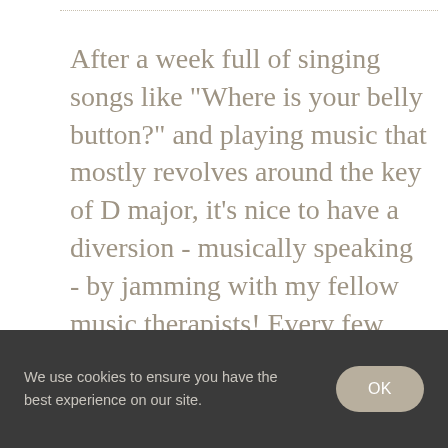After a week full of singing songs like "Where is your belly button?" and playing music that mostly revolves around the key of D major, it's nice to have a diversion - musically speaking - by jamming with my fellow music therapists! Every few weeks we'll get together with guitars,
We use cookies to ensure you have the best experience on our site.